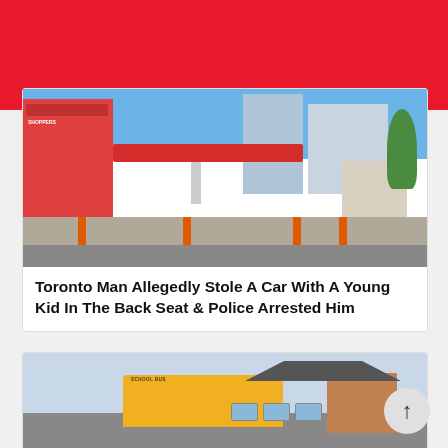[Figure (photo): Red website header banner]
[Figure (photo): Photo of a gas station (Esso) with red canopy, traffic barriers, buildings in the background including Shoppers Drug Mart, city buildings, and trees on a sunny day in Toronto]
Toronto Man Allegedly Stole A Car With A Young Kid In The Back Seat & Police Arrested Him
[Figure (photo): Photo of a yellow school bus parked in front of a brick house]